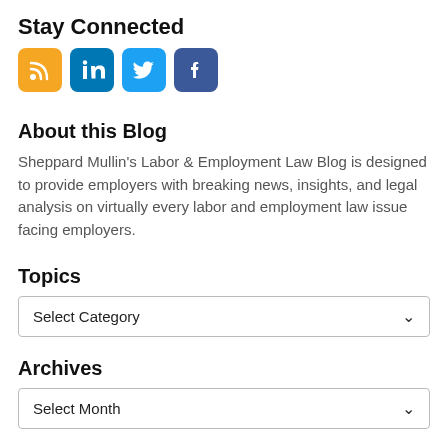Stay Connected
[Figure (illustration): Four social media icons: RSS (orange), LinkedIn (blue), Twitter (light blue), Facebook (dark blue)]
About this Blog
Sheppard Mullin’s Labor & Employment Law Blog is designed to provide employers with breaking news, insights, and legal analysis on virtually every labor and employment law issue facing employers.
Topics
Select Category
Archives
Select Month